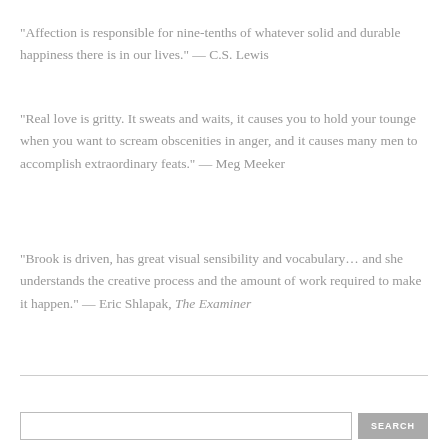“Affection is responsible for nine-tenths of whatever solid and durable happiness there is in our lives.” — C.S. Lewis
“Real love is gritty. It sweats and waits, it causes you to hold your tounge when you want to scream obscenities in anger, and it causes many men to accomplish extraordinary feats.” — Meg Meeker
“Brook is driven, has great visual sensibility and vocabulary… and she understands the creative process and the amount of work required to make it happen.” — Eric Shlapak, The Examiner